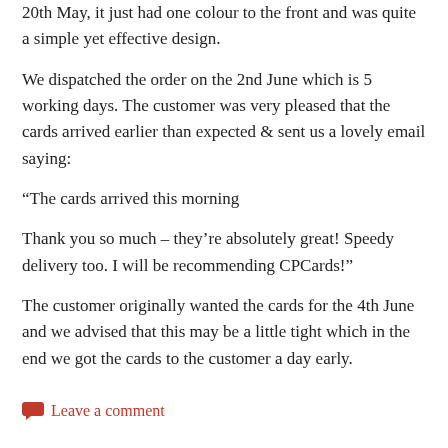20th May, it just had one colour to the front and was quite a simple yet effective design.
We dispatched the order on the 2nd June which is 5 working days. The customer was very pleased that the cards arrived earlier than expected & sent us a lovely email saying:
“The cards arrived this morning
Thank you so much – they’re absolutely great! Speedy delivery too. I will be recommending CPCards!”
The customer originally wanted the cards for the 4th June and we advised that this may be a little tight which in the end we got the cards to the customer a day early.
Leave a comment